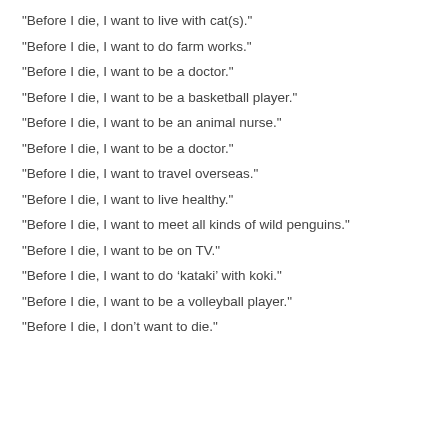“Before I die, I want to live with cat(s).”
“Before I die, I want to do farm works.”
“Before I die, I want to be a doctor.”
“Before I die, I want to be a basketball player.”
“Before I die, I want to be an animal nurse.”
“Before I die, I want to be a doctor.”
“Before I die, I want to travel overseas.”
“Before I die, I want to live healthy.”
“Before I die, I want to meet all kinds of wild penguins.”
“Before I die, I want to be on TV.”
“Before I die, I want to do ‘kataki’ with koki.”
“Before I die, I want to be a volleyball player.”
“Before I die, I don’t want to die.”